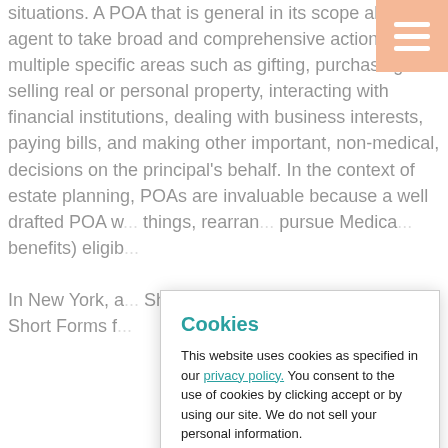situations. A POA that is general in its scope allows an agent to take broad and comprehensive action in multiple specific areas such as gifting, purchasing or selling real or personal property, interacting with financial institutions, dealing with business interests, paying bills, and making other important, non-medical, decisions on the principal's behalf. In the context of estate planning, POAs are invaluable because a well drafted POA w... things, rearran... pursue Medica... benefits) eligib...
In New York, a... Short Form Po... short form po... Short Forms fo...
Cookies
This website uses cookies as specified in our privacy policy. You consent to the use of cookies by clicking accept or by using our site. We do not sell your personal information.
Cookie settings   ACCEPT